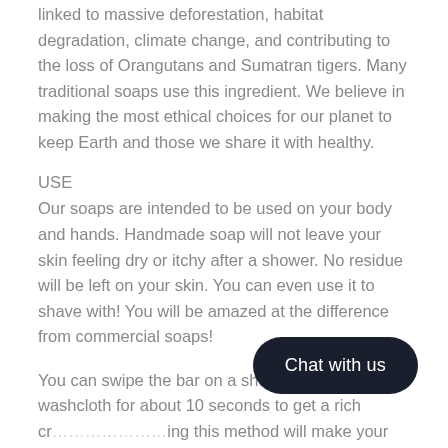linked to massive deforestation, habitat degradation, climate change, and contributing to the loss of Orangutans and Sumatran tigers. Many traditional soaps use this ingredient. We believe in making the most ethical choices for our planet to keep Earth and those we share it with healthy.
USE
Our soaps are intended to be used on your body and hands. Handmade soap will not leave your skin feeling dry or itchy after a shower. No residue will be left on your skin. You can even use it to shave with! You will be amazed at the difference from commercial soaps!
You can swipe the bar on a shower pouf or washcloth for about 10 seconds to get a rich cr… ing this method will make your soap las…
CARING FOR YOUR SOAP